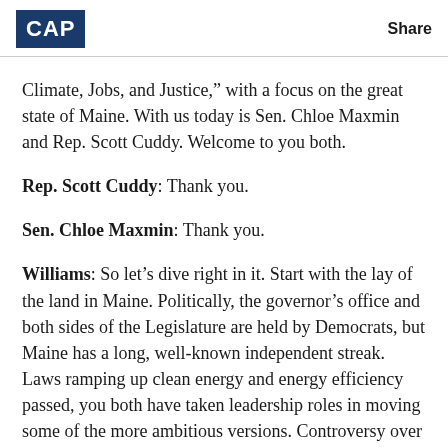CAP | Share
Climate, Jobs, and Justice," with a focus on the great state of Maine. With us today is Sen. Chloe Maxmin and Rep. Scott Cuddy. Welcome to you both.
Rep. Scott Cuddy: Thank you.
Sen. Chloe Maxmin: Thank you.
Williams: So let’s dive right in it. Start with the lay of the land in Maine. Politically, the governor’s office and both sides of the Legislature are held by Democrats, but Maine has a long, well-known independent streak. Laws ramping up clean energy and energy efficiency passed, you both have taken leadership roles in moving some of the more ambitious versions. Controversy over infrastructure projects, so on and so forth, more and